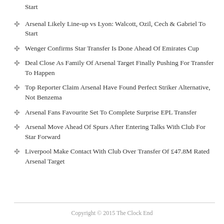Start
Arsenal Likely Line-up vs Lyon: Walcott, Ozil, Cech & Gabriel To Start
Wenger Confirms Star Transfer Is Done Ahead Of Emirates Cup
Deal Close As Family Of Arsenal Target Finally Pushing For Transfer To Happen
Top Reporter Claim Arsenal Have Found Perfect Striker Alternative, Not Benzema
Arsenal Fans Favourite Set To Complete Surprise EPL Transfer
Arsenal Move Ahead Of Spurs After Entering Talks With Club For Star Forward
Liverpool Make Contact With Club Over Transfer Of £47.8M Rated Arsenal Target
Copyright © 2015 The Clock End